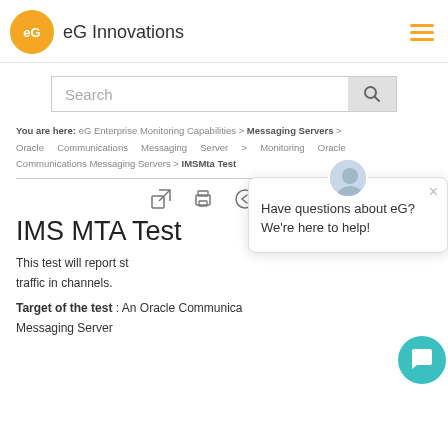[Figure (logo): eG Innovations logo with orange circle and company name]
Search
You are here: eG Enterprise Monitoring Capabilities > Messaging Servers > Oracle Communications Messaging Server > Monitoring Oracle Communications Messaging Servers > IMSMta Test
[Figure (screenshot): Toolbar icons: expand, print, back arrow, forward arrow]
IMS MTA Test
This test will report status information about the traffic in channels.
Target of the test : An Oracle Communications Messaging Server
[Figure (illustration): Chat popup with message: Have questions about eG? We're here to help!]